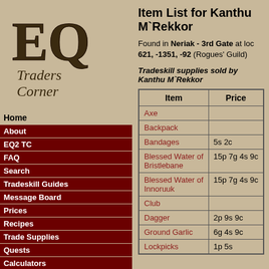[Figure (logo): EQ Traders Corner logo with stylized EQ text and decorative font]
Home
About
EQ2 TC
FAQ
Search
Tradeskill Guides
Message Board
Prices
Recipes
Trade Supplies
Quests
Calculators
News Archives
Submit
Links
Item List for Kanthu M`Rekkor
Found in Neriak - 3rd Gate at loc 621, -1351, -92 (Rogues' Guild)
Tradeskill supplies sold by Kanthu M`Rekkor
| Item | Price |
| --- | --- |
| Axe |  |
| Backpack |  |
| Bandages | 5s 2c |
| Blessed Water of Bristlebane | 15p 7g 4s 9c |
| Blessed Water of Innoruuk | 15p 7g 4s 9c |
| Club |  |
| Dagger | 2p 9s 9c |
| Ground Garlic | 6g 4s 9c |
| Lockpicks | 1p 5s |